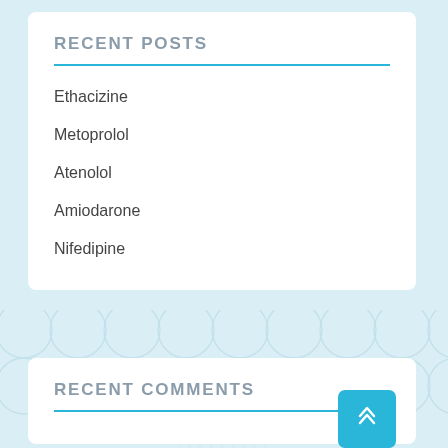RECENT POSTS
Ethacizine
Metoprolol
Atenolol
Amiodarone
Nifedipine
RECENT COMMENTS